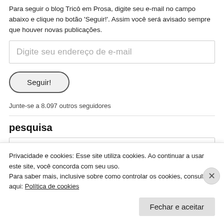Para seguir o blog Tricô em Prosa, digite seu e-mail no campo abaixo e clique no botão 'Seguir!'. Assim você será avisado sempre que houver novas publicações.
[Figure (screenshot): Email input field with placeholder text 'Digite seu endereço de e-mail']
[Figure (screenshot): Button labeled 'Seguir!']
Junte-se a 8.097 outros seguidores
pesquisa
[Figure (screenshot): Search input box partially visible]
Privacidade e cookies: Esse site utiliza cookies. Ao continuar a usar este site, você concorda com seu uso.
Para saber mais, inclusive sobre como controlar os cookies, consulte aqui: Política de cookies
[Figure (screenshot): Button labeled 'Fechar e aceitar']